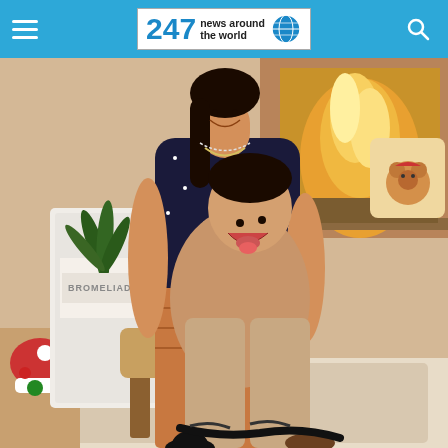247 news around the world
[Figure (photo): A woman and a child playing and laughing together indoors near a fireplace. The woman is wearing a dark star-patterned top and patterned wide-leg pants. The child is wearing a tan/nude wide-leg outfit. There is a Bromeliad plant box and Christmas decorations visible in the background. The website header shows '247 news around the world' logo.]